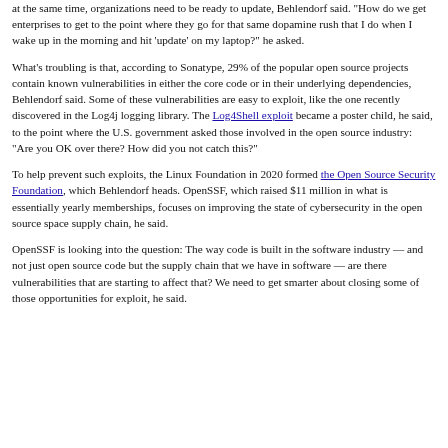at the same time, organizations need to be ready to update, Behlendorf said. "How do we get enterprises to get to the point where they go for that same dopamine rush that I do when I wake up in the morning and hit 'update' on my laptop?" he asked.
What's troubling is that, according to Sonatype, 29% of the popular open source projects contain known vulnerabilities in either the core code or in their underlying dependencies, Behlendorf said. Some of these vulnerabilities are easy to exploit, like the one recently discovered in the Log4j logging library. The Log4Shell exploit became a poster child, he said, to the point where the U.S. government asked those involved in the open source industry: "Are you OK over there? How did you not catch this?"
To help prevent such exploits, the Linux Foundation in 2020 formed the Open Source Security Foundation, which Behlendorf heads. OpenSSF, which raised $11 million in what is essentially yearly memberships, focuses on improving the state of cybersecurity in the open source space supply chain, he said.
OpenSSF is looking into the question: The way code is built in the software industry — and not just open source code but the supply chain that we have in software — are there vulnerabilities that are starting to affect that? We need to get smarter about closing some of those opportunities for exploit, he said.